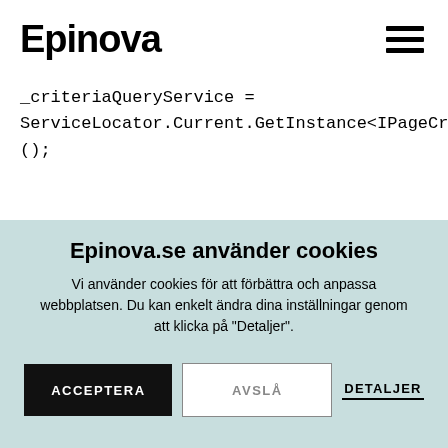Epinova
Epinova.se använder cookies
Vi använder cookies för att förbättra och anpassa webbplatsen. Du kan enkelt ändra dina inställningar genom att klicka på "Detaljer".
ACCEPTERA
AVSLÅ
DETALJER